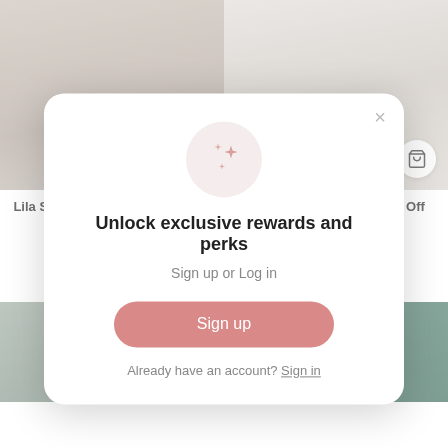[Figure (screenshot): E-commerce product listing showing two sweaters: 'Lila Sheer Long Sleeve Beige V-Neck Sweater' and 'Olivia Chenille Open Knit Off White Sweater', each with a shopping bag icon button]
Lila Sheer Long Sleeve Beige V-Neck Sweater
Olivia Chenille Open Knit Off White Sweater
[Figure (screenshot): Modal popup with sparkle icon, heading 'Unlock exclusive rewards and perks', subtext 'Sign up or Log in', a pink 'Sign up' button, and a 'Already have an account? Sign in' link. Has an X close button in top right.]